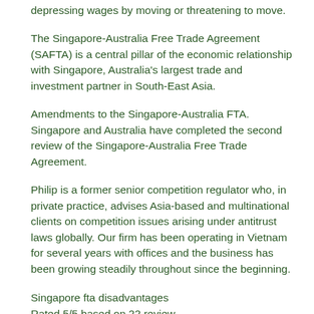depressing wages by moving or threatening to move.
The Singapore-Australia Free Trade Agreement (SAFTA) is a central pillar of the economic relationship with Singapore, Australia's largest trade and investment partner in South-East Asia.
Amendments to the Singapore-Australia FTA. Singapore and Australia have completed the second review of the Singapore-Australia Free Trade Agreement.
Philip is a former senior competition regulator who, in private practice, advises Asia-based and multinational clients on competition issues arising under antitrust laws globally. Our firm has been operating in Vietnam for several years with offices and the business has been growing steadily throughout since the beginning.
Singapore fta disadvantages
Rated 5/5 based on 22 review